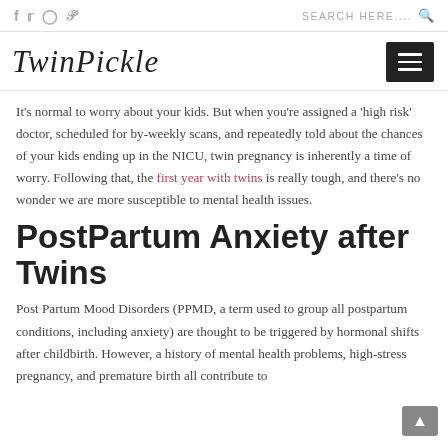f  Twitter  Instagram  Pinterest   SEARCH HERE....
TwinPickle
It’s normal to worry about your kids. But when you’re assigned a ‘high risk’ doctor, scheduled for by-weekly scans, and repeatedly told about the chances of your kids ending up in the NICU, twin pregnancy is inherently a time of worry. Following that, the first year with twins is really tough, and there’s no wonder we are more susceptible to mental health issues.
PostPartum Anxiety after Twins
Post Partum Mood Disorders (PPMD, a term used to group all postpartum conditions, including anxiety) are thought to be triggered by hormonal shifts after childbirth. However, a history of mental health problems, high-stress pregnancy, and premature birth all contribute to